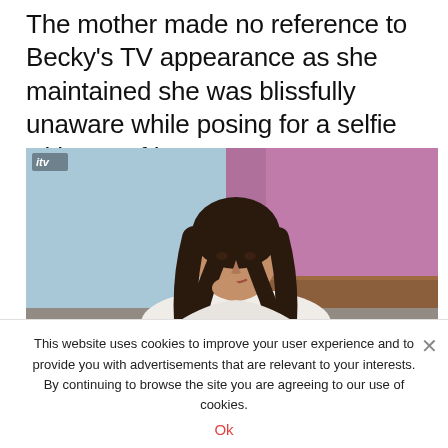The mother made no reference to Becky's TV appearance as she maintained she was blissfully unaware while posing for a selfie with two of her sons.
[Figure (photo): A woman with long dark hair sitting on a TV set, resting her chin on her hand thoughtfully. The ITV logo is visible in the top left corner. The background shows a blurred blue and purple studio backdrop.]
This website uses cookies to improve your user experience and to provide you with advertisements that are relevant to your interests. By continuing to browse the site you are agreeing to our use of cookies.
Ok